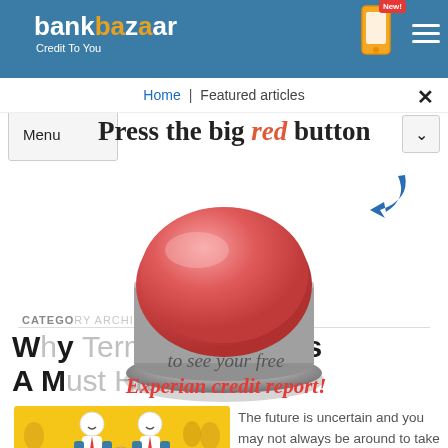bankbazaar Credit To You
Home | Featured articles
Menu
[Figure (illustration): Red big button / buzzer illustration with circular red top and silver metallic base]
Press the big red button
CATEGORY ARCHIVES: FEATURED ARTICLES
Why Term Insurance Is A Must Have!
to see your free Experian credit report!
[Figure (illustration): Cartoon illustration of two stick-figure people shaking hands on a yellow background]
The future is uncertain and you may not always be around to take care